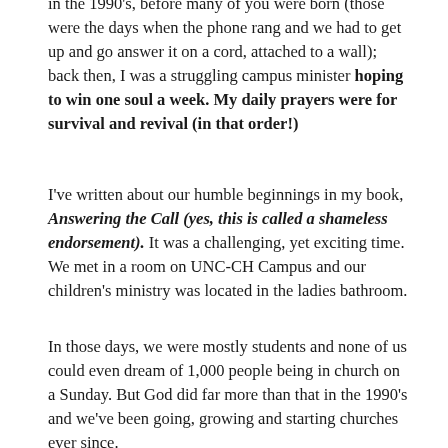in the 1990's, before many of you were born (those were the days when the phone rang and we had to get up and go answer it on a cord, attached to a wall); back then, I was a struggling campus minister hoping to win one soul a week. My daily prayers were for survival and revival (in that order!)
I've written about our humble beginnings in my book, Answering the Call (yes, this is called a shameless endorsement). It was a challenging, yet exciting time. We met in a room on UNC-CH Campus and our children's ministry was located in the ladies bathroom.
In those days, we were mostly students and none of us could even dream of 1,000 people being in church on a Sunday. But God did far more than that in the 1990's and we've been going, growing and starting churches ever since.